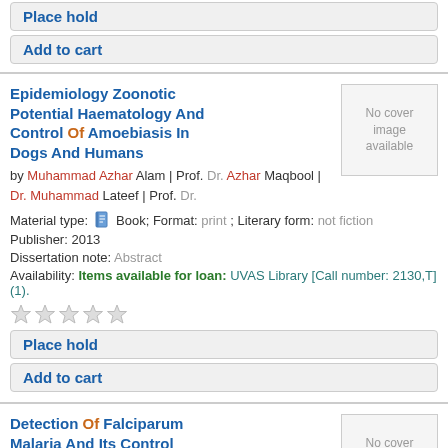Place hold
Add to cart
Epidemiology Zoonotic Potential Haematology And Control Of Amoebiasis In Dogs And Humans
by Muhammad Azhar Alam | Prof. Dr. Azhar Maqbool | Dr. Muhammad Lateef | Prof. Dr.
Material type: Book; Format: print ; Literary form: not fiction
Publisher: 2013
Dissertation note: Abstract
Availability: Items available for loan: UVAS Library [Call number: 2130,T] (1).
Place hold
Add to cart
Detection Of Falciparum Malaria And Its Control Under Local Climatic Conditions
by Muhammad Oneeb | Prof. Dr. Azhar Maqbool | Dr. Muhammad Lateef | Prof. Dr.
Material type: Book; Format: print ; Literary form: not fiction
Publisher: 2013
Dissertation note: Abstract